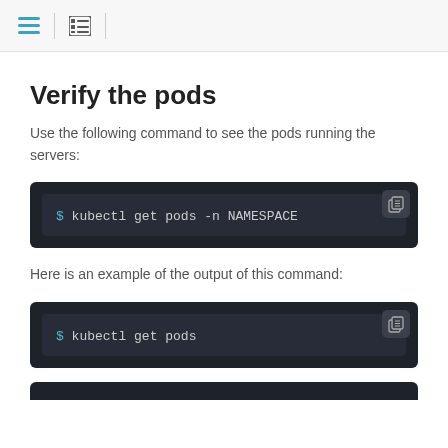Navigation icons
Verify the pods
Use the following command to see the pods running the servers:
[Figure (screenshot): Code block showing: $ kubectl get pods -n NAMESPACE]
Here is an example of the output of this command:
[Figure (screenshot): Code block showing: $ kubectl get pods]
[Figure (screenshot): Partial code block at the bottom of the page]